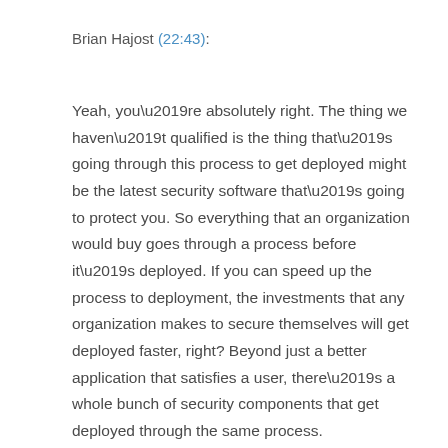Brian Hajost (22:43):
Yeah, you’re absolutely right. The thing we haven’t qualified is the thing that’s going through this process to get deployed might be the latest security software that’s going to protect you. So everything that an organization would buy goes through a process before it’s deployed. If you can speed up the process to deployment, the investments that any organization makes to secure themselves will get deployed faster, right? Beyond just a better application that satisfies a user, there’s a whole bunch of security components that get deployed through the same process.